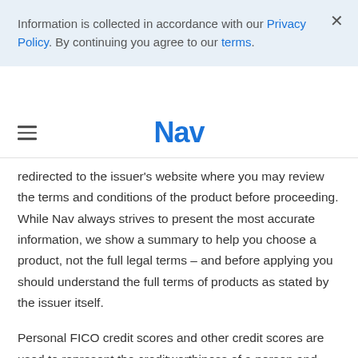Information is collected in accordance with our Privacy Policy. By continuing you agree to our terms.
Nav
redirected to the issuer's website where you may review the terms and conditions of the product before proceeding. While Nav always strives to present the most accurate information, we show a summary to help you choose a product, not the full legal terms – and before applying you should understand the full terms of products as stated by the issuer itself.
Personal FICO credit scores and other credit scores are used to represent the creditworthiness of a person and may be one indicator to the credit or financing type you are eligible for. Nav uses the Vantage 3.0 credit score to